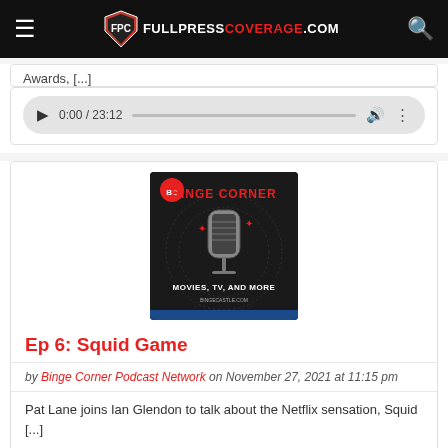FULLPRESSCOVERAGE.COM
Awards, [...]
[Figure (other): Audio player widget showing 0:00 / 23:12 with play button, progress bar, volume icon, and more options icon]
[Figure (other): Binge Corner podcast logo — dark background with red vintage microphone graphic, text: BINGE CORNER, MOVIES, TV, AND MORE]
Ep 6: Squid Game
by Binge Corner Podcast Network on November 27, 2021 at 11:15 pm
Pat Lane joins Ian Glendon to talk about the Netflix sensation, Squid [...]